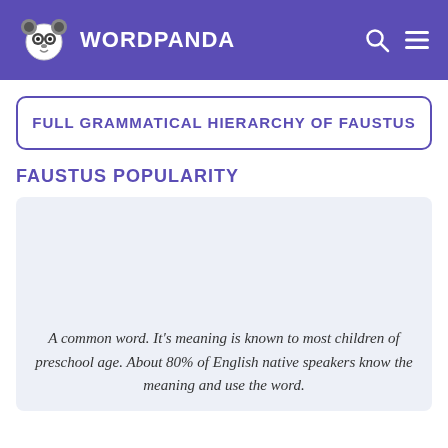WORDPANDA
FULL GRAMMATICAL HIERARCHY OF FAUSTUS
FAUSTUS POPULARITY
A common word. It’s meaning is known to most children of preschool age. About 80% of English native speakers know the meaning and use the word.